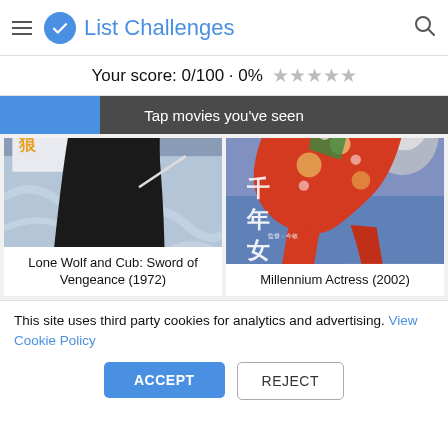List Challenges
Your score: 0/100 · 0% ★★★★★
Tap movies you've seen
[Figure (photo): Movie poster for Lone Wolf and Cub: Sword of Vengeance (1972) — Japanese samurai film poster with a dark-robed figure and Japanese characters]
Lone Wolf and Cub: Sword of Vengeance (1972)
[Figure (photo): Movie poster for Millennium Actress (2002) — animated film poster with colorful Japanese obi/kimono fabric and Japanese characters]
Millennium Actress (2002)
This site uses third party cookies for analytics and advertising. View Cookie Policy
ACCEPT
REJECT